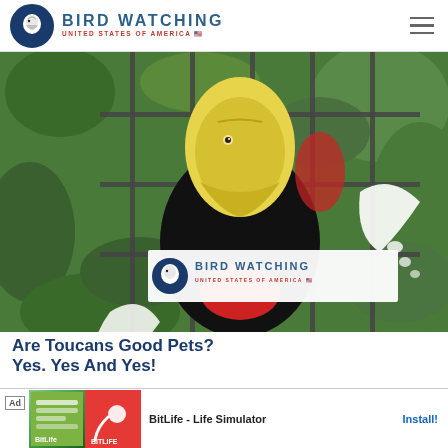[Figure (logo): Bird Watching United States of America logo with eagle emblem in navy circle, blue uppercase title text and red subtitle text, hamburger menu icon on right]
[Figure (photo): A toucan bird with bright yellow and black plumage visible through metal cage bars, surrounded by green foliage. The Bird Watching United States of America logo overlay appears in the lower portion of the image.]
Are Toucans Good Pets? Yes. Yes And Yes!
[Figure (screenshot): Advertisement banner for BitLife - Life Simulator app with green and red icons, Ad label, and Install button]